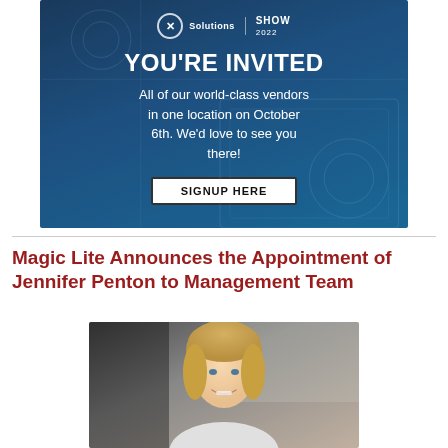[Figure (infographic): Dark blue banner invitation with logos at top, bold 'YOU'RE INVITED' headline, body text about world-class vendors in one location on October 6th, and a 'SIGNUP HERE' button.]
Magic Lite Announces the Appointment of Jennifer Penton to Management Team
[Figure (photo): Professional headshot photo of Jennifer Penton, a blonde woman smiling, against a neutral background.]